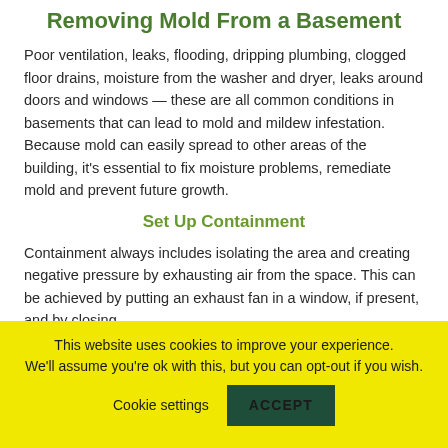Removing Mold From a Basement
Poor ventilation, leaks, flooding, dripping plumbing, clogged floor drains, moisture from the washer and dryer, leaks around doors and windows — these are all common conditions in basements that can lead to mold and mildew infestation. Because mold can easily spread to other areas of the building, it's essential to fix moisture problems, remediate mold and prevent future growth.
Set Up Containment
Containment always includes isolating the area and creating negative pressure by exhausting air from the space. This can be achieved by putting an exhaust fan in a window, if present, and by closing
This website uses cookies to improve your experience. We'll assume you're ok with this, but you can opt-out if you wish.
Cookie settings
ACCEPT